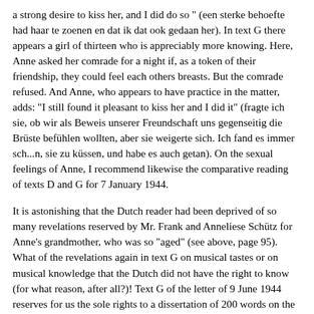a strong desire to kiss her, and I did do so " (een sterke behoefte had haar te zoenen en dat ik dat ook gedaan her). In text G there appears a girl of thirteen who is appreciably more knowing. Here, Anne asked her comrade for a night if, as a token of their friendship, they could feel each others breasts. But the comrade refused. And Anne, who appears to have practice in the matter, adds: "I still found it pleasant to kiss her and I did it" (fragte ich sie, ob wir als Beweis unserer Freundschaft uns gegenseitig die Brüste befühlen wollten, aber sie weigerte sich. Ich fand es immer sch...n, sie zu küssen, und habe es auch getan). On the sexual feelings of Anne, I recommend likewise the comparative reading of texts D and G for 7 January 1944.
It is astonishing that the Dutch reader had been deprived of so many revelations reserved by Mr. Frank and Anneliese Schütz for Anne's grandmother, who was so "aged" (see above, page 95). What of the revelations again in text G on musical tastes or on musical knowledge that the Dutch did not have the right to know (for what reason, after all?)! Text G of the letter of 9 June 1944 reserves for us the sole rights to a dissertation of 200 words on the life of Liszt (treated, by a very feminist Anne, as a "petticoat chaser"/Schürzenjäger), of Beethoven, Wagner, Chopin, Rossini, Mendelssohn. Many other names are mentioned: Hector Berlioz, Victor Hugo, Honoré de Balzac The entry of 20 February 1944 (220 words) is absent from text D. It contains however some